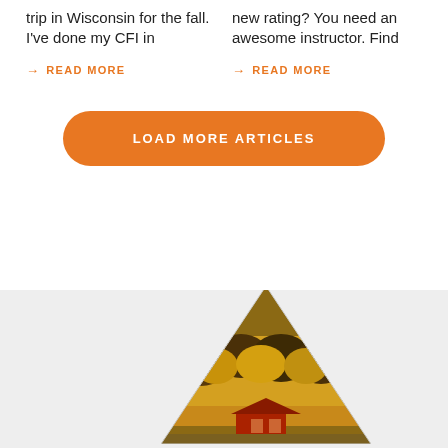trip in Wisconsin for the fall. I've done my CFI in
new rating? You need an awesome instructor. Find
→ READ MORE
→ READ MORE
LOAD MORE ARTICLES
[Figure (photo): Triangular/pyramid shaped image showing autumn trees and a red building or barn at the base, positioned in the lower-right area of a gray section]